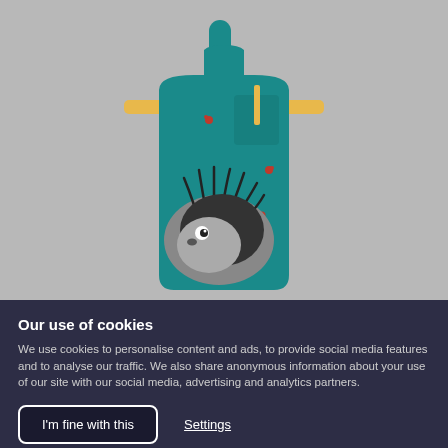[Figure (photo): A children's teal/green gardening apron with yellow tie straps and a hedgehog illustration on the front, with small bug/flower details. Displayed on a grey background.]
Children's gardening apron
Our use of cookies
We use cookies to personalise content and ads, to provide social media features and to analyse our traffic. We also share anonymous information about your use of our site with our social media, advertising and analytics partners.